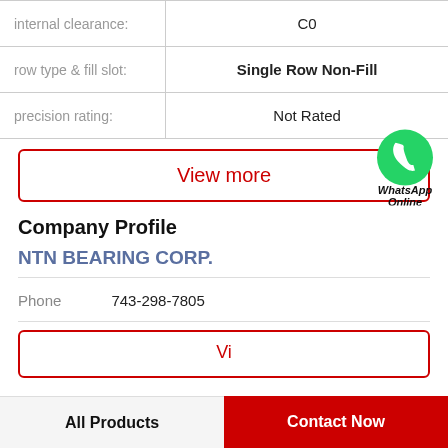| Property | Value |
| --- | --- |
| internal clearance: | C0 |
| row type & fill slot: | Single Row Non-Fill |
| precision rating: | Not Rated |
View more
[Figure (logo): WhatsApp green circle icon with phone handset, labeled 'WhatsApp Online' in bold italic]
Company Profile
NTN BEARING CORP.
Phone   743-298-7805
Vi...
All Products   Contact Now